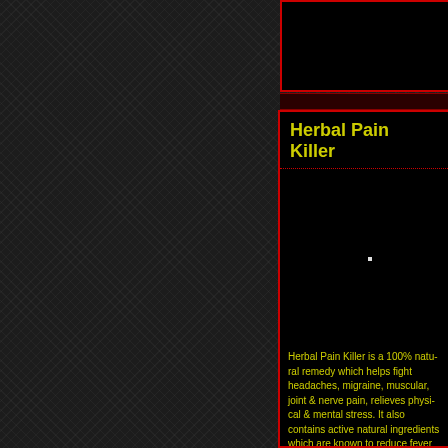Herbal Pain Killer
Herbal Pain Killer is a 100% natural remedy which helps fight headaches, migraine, muscular, joint & nerve pain, relieves physical & mental stress. It also contains active natural ingredients which are known to reduce fever and reduce...